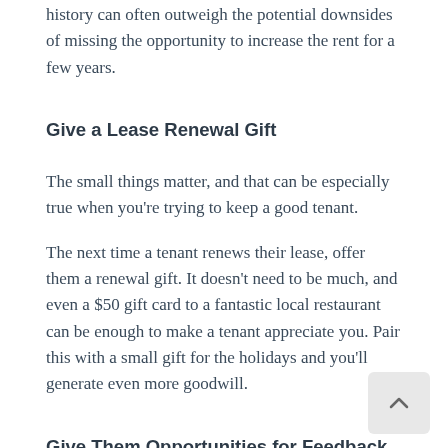history can often outweigh the potential downsides of missing the opportunity to increase the rent for a few years.
Give a Lease Renewal Gift
The small things matter, and that can be especially true when you're trying to keep a good tenant.
The next time a tenant renews their lease, offer them a renewal gift. It doesn't need to be much, and even a $50 gift card to a fantastic local restaurant can be enough to make a tenant appreciate you. Pair this with a small gift for the holidays and you'll generate even more goodwill.
Give Them Opportunities for Feedback